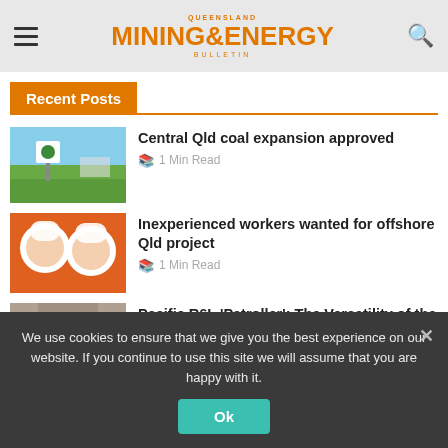Queensland Mining & Energy Bulletin
Recent Posts
[Figure (photo): Photo of a mining site with a sign and green fields, blue sky]
Central Qld coal expansion approved
🕮 1 Min Read
[Figure (photo): Two workers in orange hi-vis and white hard hats smiling]
Inexperienced workers wanted for offshore Qld project
🕮 1 Min Read
[Figure (photo): Person in yellow jacket and helmet against rock face]
Pacific R6L 'Patroller': The Versatility of the R6 Series Meets Military Styling
🕮 2 Min Read
We use cookies to ensure that we give you the best experience on our website. If you continue to use this site we will assume that you are happy with it.